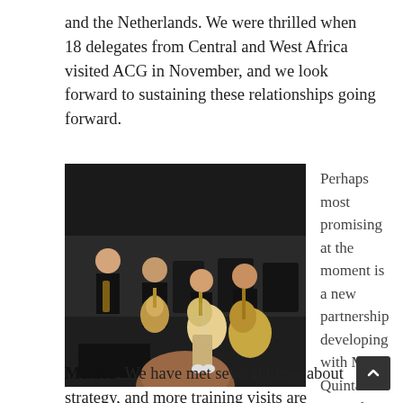and the Netherlands. We were thrilled when 18 delegates from Central and West Africa visited ACG in November, and we look forward to sustaining these relationships going forward.
[Figure (photo): Children playing guitars and string instruments while seated in chairs in a dark performance space. Several children in black uniforms are visible holding acoustic guitars.]
Perhaps most promising at the moment is a new partnership developing with Mario Quintanilla Saucedo in Mexico. We have met several times about strategy, and more training visits are scheduled. The goal is to develop a widespread music education program serving youth in